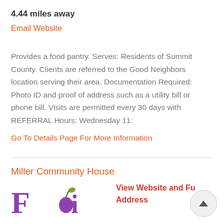4.44 miles away
Email Website
Provides a food pantry. Serves: Residents of Summit County. Clients are referred to the Good Neighbors location serving their area. Documentation Required: Photo ID and proof of address such as a utility bill or phone bill. Visits are permitted every 30 days with REFERRAL Hours: Wednesday 11:
Go To Details Page For More Information
Miller Community House
[Figure (logo): Partial logo with purple serif letters and decorative plant/apple graphic, partially cut off at bottom of page]
View Website and Fu Address